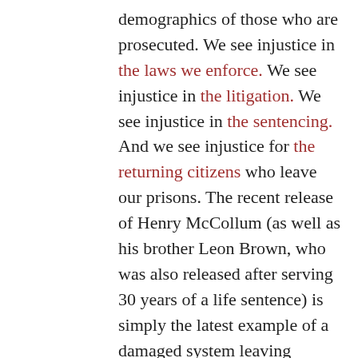demographics of those who are prosecuted. We see injustice in the laws we enforce. We see injustice in the litigation. We see injustice in the sentencing. And we see injustice for the returning citizens who leave our prisons. The recent release of Henry McCollum (as well as his brother Leon Brown, who was also released after serving 30 years of a life sentence) is simply the latest example of a damaged system leaving damaged people, families, and communities in its wake.